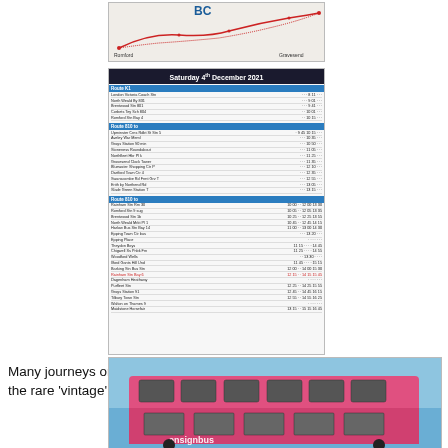[Figure (map): Bus route map showing route with red lines and stops, labeled with place names including Romford and Gravesend]
[Figure (table-as-image): Bus timetable for Saturday 4th December 2021 showing multiple routes with departure times]
Many journeys on Saturday ran almost full most of the time especially the rare ‘vintage’ vehicles.
[Figure (photo): Photo of a pink/red double-decker bus (Ensignbus) against a blue sky]